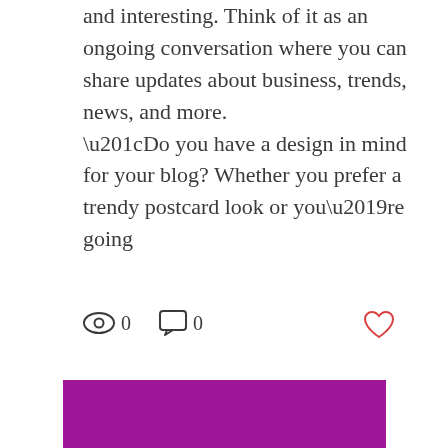and interesting. Think of it as an ongoing conversation where you can share updates about business, trends, news, and more. “Do you have a design in mind for your blog? Whether you prefer a trendy postcard look or you’re going
[Figure (other): Social interaction icons row: eye icon with count 0, comment bubble icon with count 0, and a heart (like) icon in red/coral color]
[Figure (photo): Solid magenta/purple rectangle filling the lower portion of the page]